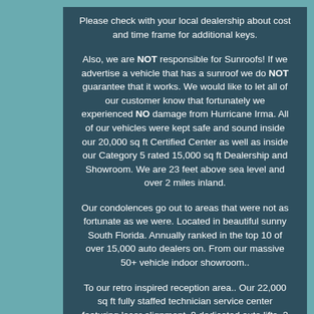Please check with your local dealership about cost and time frame for additional keys.
Also, we are NOT responsible for Sunroofs! If we advertise a vehicle that has a sunroof we do NOT guarantee that it works. We would like to let all of our customer know that fortunately we experienced NO damage from Hurricane Irma. All of our vehicles were kept safe and sound inside our 20,000 sq ft Certified Center as well as inside our Category 5 rated 15,000 sq ft Dealership and Showroom. We are 23 feet above sea level and over 2 miles inland.
Our condolences go out to areas that were not as fortunate as we were. Located in beautiful sunny South Florida. Annually ranked in the top 10 of over 15,000 auto dealers on. From our massive 50+ vehicle indoor showroom..
To our retro inspired reception area.. Our 22,000 sq ft fully staffed technician service center featuring laser alignment, 9 dedicated auto lifts, 2 downdraft paint booths, Spies...